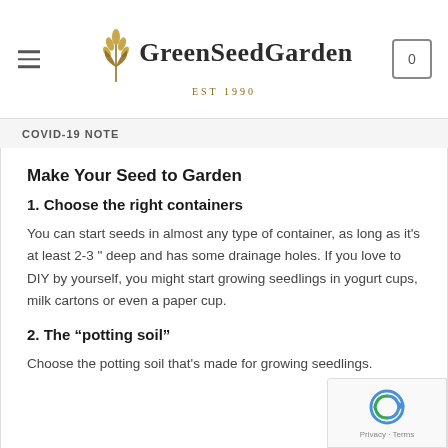GreenSeedGarden EST 1990
COVID-19 NOTE
Make Your Seed to Garden
1. Choose the right containers
You can start seeds in almost any type of container, as long as it’s at least 2-3” deep and has some drainage holes. If you love to DIY by yourself, you might start growing seedlings in yogurt cups, milk cartons or even a paper cup.
2. The “potting soil”
Choose the potting soil that’s made for growing seedlings.